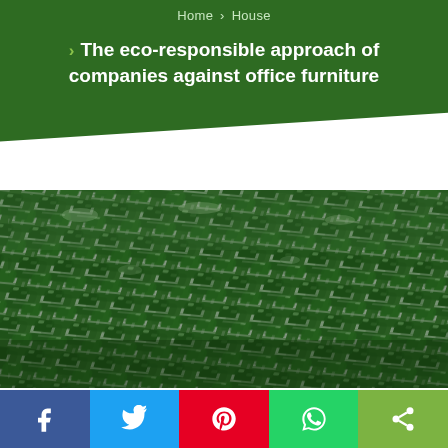Home › House
› The eco-responsible approach of companies against office furniture
[Figure (photo): Large array of dark green folding chairs arranged in dense diagonal rows, viewed from an angle, with metallic frames visible.]
Social share bar: Facebook, Twitter, Pinterest, WhatsApp, Share